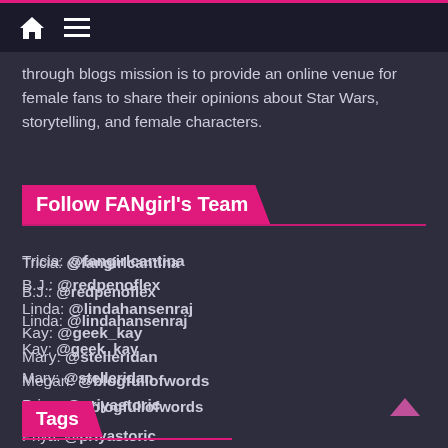through blogs mission is to provide an online venue for female fans to share their opinions about Star Wars, storytelling, and female characters.
Follow FANgirl's Team
Tricia: @fangirlcantina
B.J.: @redpenoflex
Linda: @lindahansenraj
Kay: @geek_kay
Mary: @stelleridan
Megan: @blogfullofwords
Priya: @priyastoric
Amy: @amyrichau
Hyperspace Theories Podcast: @HyperspacePod
Tags